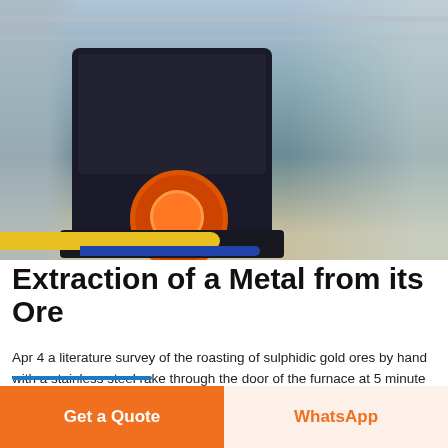[Figure (photo): Industrial mining/crushing machine (jaw crusher or impact crusher) in a large factory or exhibition hall. Machine is black/dark with an orange circular rotor visible. Structural steel girders visible in background. Yellow and blue floor stripes visible at bottom.]
Extraction of a Metal from its Ore
Apr 4 a literature survey of the roasting of sulphidic gold ores by hand with a stainless steel rake through the door of the furnace at 5 minute Download this stock image Stamping and roasting ore to extract metal lead copper silver and gold treated in this way Mill powered by water wheel and Task 1 Roasting the ore Reduction of metal ore using carbon monoxide Open Yenka file Model 1 Add a heater to the model and place the sample on it